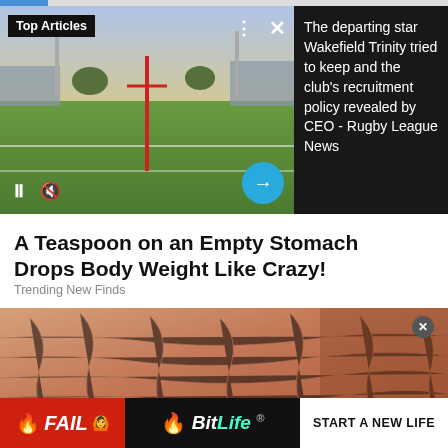[Figure (screenshot): Top Articles video player showing a rugby field with goal post. Controls: pause, mute icons bottom left, blue arrow button bottom right, dots and X top right.]
The departing star Wakefield Trinity tried to keep and the club's recruitment policy revealed by CEO - Rugby League News
A Teaspoon on an Empty Stomach Drops Body Weight Like Crazy!
Trending New Finds
[Figure (photo): Close-up photo of wrinkled human skin, pinkish-tan color with visible texture lines. Overlay advertisement banner at bottom for BitLife game.]